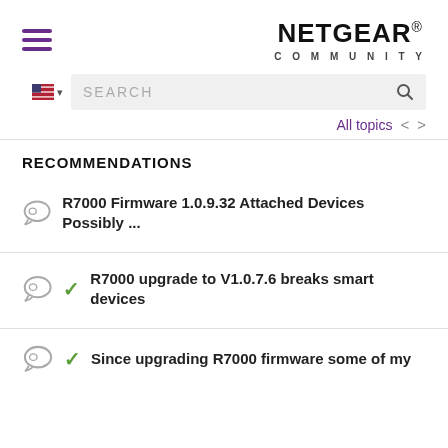[Figure (logo): NETGEAR Community logo with hamburger menu icon]
[Figure (screenshot): Search bar with US flag selector and search icon]
All topics
RECOMMENDATIONS
R7000 Firmware 1.0.9.32 Attached Devices Possibly ...
R7000 upgrade to V1.0.7.6 breaks smart devices
Since upgrading R7000 firmware some of my